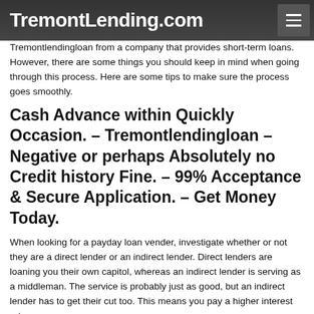TremontLending.com
Tremontlendingloan from a company that provides short-term loans. However, there are some things you should keep in mind when going through this process. Here are some tips to make sure the process goes smoothly.
Cash Advance within Quickly Occasion. – Tremontlendingloan – Negative or perhaps Absolutely no Credit history Fine. – 99% Acceptance & Secure Application. – Get Money Today.
When looking for a payday loan vender, investigate whether or not they are a direct lender or an indirect lender. Direct lenders are loaning you their own capitol, whereas an indirect lender is serving as a middleman. The service is probably just as good, but an indirect lender has to get their cut too. This means you pay a higher interest rate.
Never take out more than one payday loan at a time. Never attempt to get loans from numerous payday loan companies. Doing this will cause your